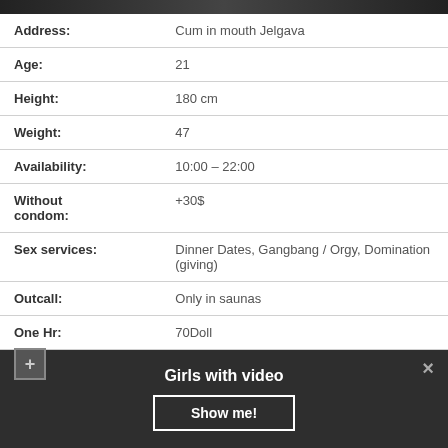[Figure (photo): Partial photo strip at top of page]
| Field | Value |
| --- | --- |
| Address: | Cum in mouth Jelgava |
| Age: | 21 |
| Height: | 180 cm |
| Weight: | 47 |
| Availability: | 10:00 – 22:00 |
| Without condom: | +30$ |
| Sex services: | Dinner Dates, Gangbang / Orgy, Domination (giving) |
| Outcall: | Only in saunas |
| One Hr: | 70Doll |
Girls with video
Show me!